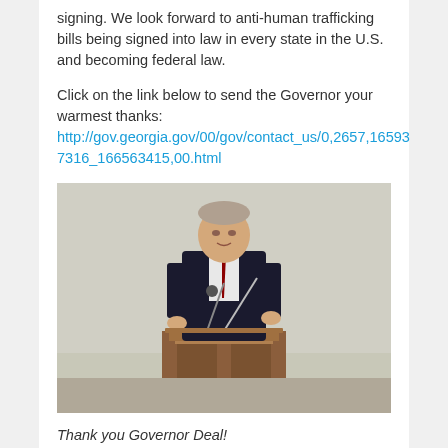signing. We look forward to anti-human trafficking bills being signed into law in every state in the U.S. and becoming federal law.
Click on the link below to send the Governor your warmest thanks:
http://gov.georgia.gov/00/gov/contact_us/0,2657,165937316_166563415,00.html
[Figure (photo): A man in a dark suit speaking at a wooden podium with microphones in front of him.]
Thank you Governor Deal!